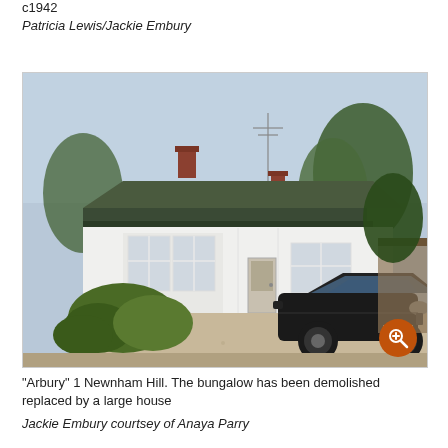c1942
Patricia Lewis/Jackie Embury
[Figure (photo): A white single-storey bungalow named 'Arbury' at 1 Newnham Hill, with a tiled roof, bay windows, and a black Citroën car parked on the gravel driveway. Trees and shrubs surround the property.]
"Arbury" 1 Newnham Hill. The bungalow has been demolished replaced by a large house
Jackie Embury courtsey of Anaya Parry